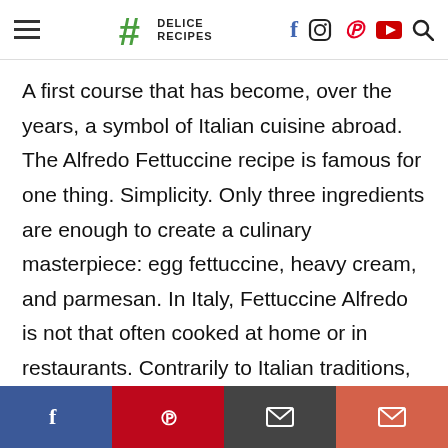Delice Recipes – navigation header with logo and social icons
A first course that has become, over the years, a symbol of Italian cuisine abroad. The Alfredo Fettuccine recipe is famous for one thing. Simplicity. Only three ingredients are enough to create a culinary masterpiece: egg fettuccine, heavy cream, and parmesan. In Italy, Fettuccine Alfredo is not that often cooked at home or in restaurants. Contrarily to Italian traditions, this pasta recipe is very common in the United States and is considered a typical dish of the
Social share bar: Facebook, Pinterest, Email, Envelope